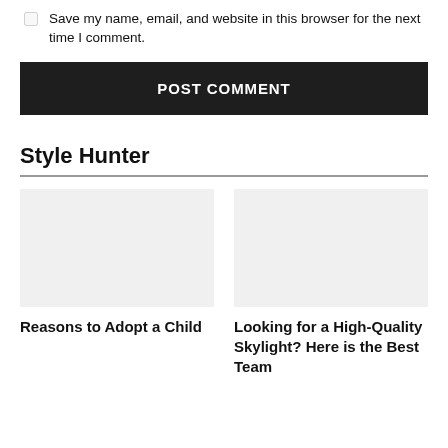Save my name, email, and website in this browser for the next time I comment.
POST COMMENT
Style Hunter
Reasons to Adopt a Child
Looking for a High-Quality Skylight? Here is the Best Team